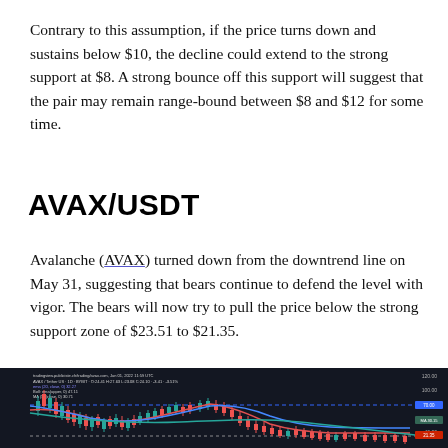Contrary to this assumption, if the price turns down and sustains below $10, the decline could extend to the strong support at $8. A strong bounce off this support will suggest that the pair may remain range-bound between $8 and $12 for some time.
AVAX/USDT
Avalanche (AVAX) turned down from the downtrend line on May 31, suggesting that bears continue to defend the level with vigor. The bears will now try to pull the price below the strong support zone of $23.51 to $21.35.
[Figure (continuous-plot): AVAX/USDT candlestick chart showing price action with moving averages (blue and red curves), a horizontal dashed blue resistance line around $70-$75, a horizontal dashed gray support line at the bottom, and candlestick price bars in red and green. Price labels visible on the right axis including 120.00, 100.00, 80.00, 60.00, 40.00.]